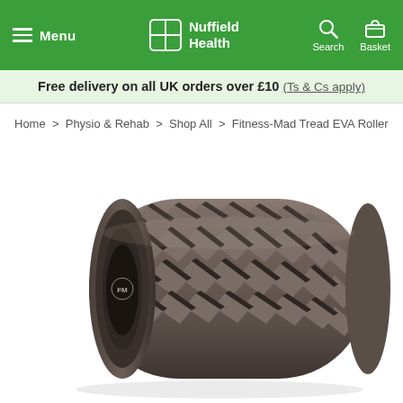Menu | Nuffield Health | Search | Basket
Free delivery on all UK orders over £10 (Ts & Cs apply)
Home > Physio & Rehab > Shop All > Fitness-Mad Tread EVA Roller
[Figure (photo): Fitness-Mad Tread EVA foam roller in dark grey/brown color with textured tread pattern surface, shown at an angle on white background. Circular Fitness-Mad logo visible on left end.]